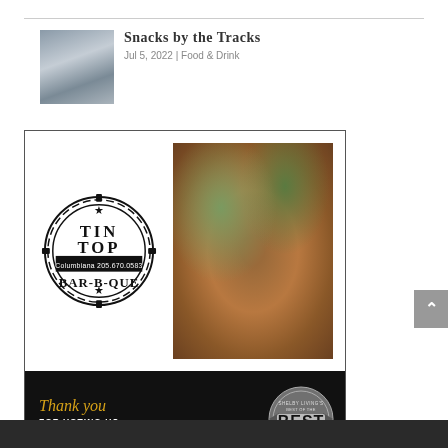[Figure (photo): Restaurant interior thumbnail showing tables and wooden ceiling]
Snacks by the Tracks
Jul 5, 2022 | Food & Drink
[Figure (photo): Tin Top Bar-B-Que advertisement. Top half: Tin Top BAR-B-QUE logo (badge/seal style, Columbiana 205.670.0583) on white background beside a photo of BBQ nachos with pulled pork and jalapeños. Bottom half: Black background with 'Thank you FOR VOTING US BEST BAR-B-QUE!' text in yellow script and white bold, alongside a Shelby Living's Best of the Best 2022 Winner badge.]